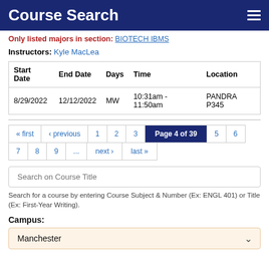Course Search
Only listed majors in section: BIOTECH IBMS
Instructors: Kyle MacLea
| Start Date | End Date | Days | Time | Location |
| --- | --- | --- | --- | --- |
| 8/29/2022 | 12/12/2022 | MW | 10:31am - 11:50am | PANDRA P345 |
« first ‹ previous 1 2 3 Page 4 of 39 5 6 7 8 9 ... next › last »
Search on Course Title
Search for a course by entering Course Subject & Number (Ex: ENGL 401) or Title (Ex: First-Year Writing).
Campus:
Manchester